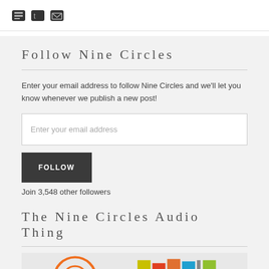[Figure (other): Social media icons: Facebook, Twitter, Email]
Follow Nine Circles
Enter your email address to follow Nine Circles and we'll let you know whenever we publish a new post!
Enter your email address
FOLLOW
Join 3,548 other followers
The Nine Circles Audio Thing
[Figure (other): The Nine Circles Audio Thing logo/image with orange circle icon and colorful bar graphic]